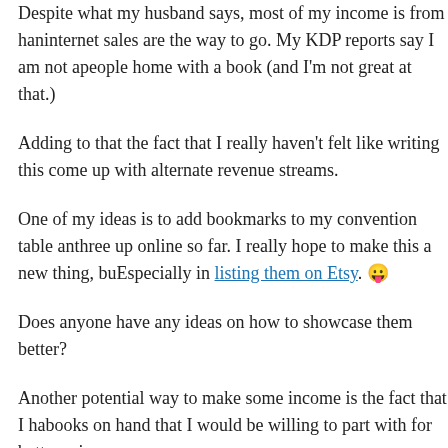Despite what my husband says, most of my income is from hand internet sales are the way to go. My KDP reports say I am not as people home with a book (and I'm not great at that.)
Adding to that the fact that I really haven't felt like writing this come up with alternate revenue streams.
One of my ideas is to add bookmarks to my convention table an three up online so far. I really hope to make this a new thing, bu Especially in listing them on Etsy. 😛
Does anyone have any ideas on how to showcase them better?
Another potential way to make some income is the fact that I ha books on hand that I would be willing to part with for better pri
The Luckless Prince — $15 + shipping
The [incomplete] — $1[5 + shipping]